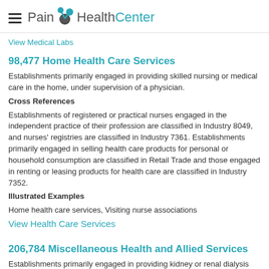Pain Health Center
View Medical Labs
98,477 Home Health Care Services
Establishments primarily engaged in providing skilled nursing or medical care in the home, under supervision of a physician.
Cross References
Establishments of registered or practical nurses engaged in the independent practice of their profession are classified in Industry 8049, and nurses' registries are classified in Industry 7361. Establishments primarily engaged in selling health care products for personal or household consumption are classified in Retail Trade and those engaged in renting or leasing products for health care are classified in Industry 7352.
Illustrated Examples
Home health care services, Visiting nurse associations
View Health Care Services
206,784 Miscellaneous Health and Allied Services
Establishments primarily engaged in providing kidney or renal dialysis services.